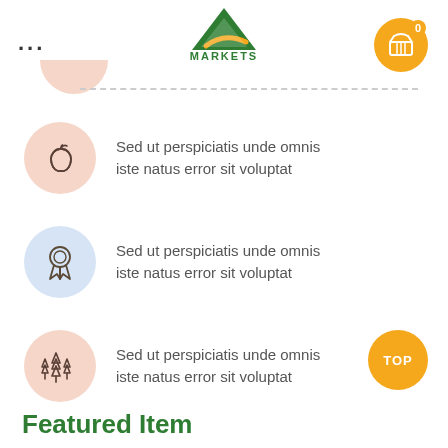[Figure (logo): A Markets logo — green triangle/mountain shape with orange swoosh and text MARKETS below]
[Figure (illustration): Shopping cart icon on orange circle with badge showing 0]
Sed ut perspiciatis unde omnis iste natus error sit voluptat
Sed ut perspiciatis unde omnis iste natus error sit voluptat
Sed ut perspiciatis unde omnis iste natus error sit voluptat
Featured Item